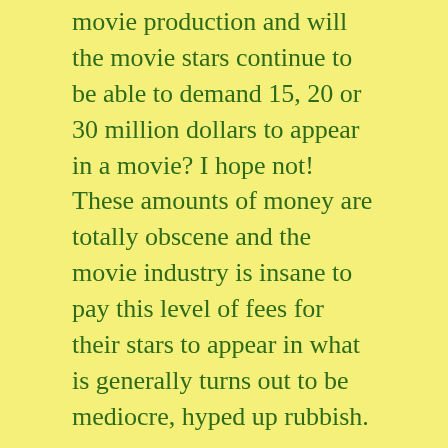movie production and will the movie stars continue to be able to demand 15, 20 or 30 million dollars to appear in a movie? I hope not! These amounts of money are totally obscene and the movie industry is insane to pay this level of fees for their stars to appear in what is generally turns out to be mediocre, hyped up rubbish.
We have seen time and  time again that it doesn't take untold millions, in both production costs and movie star salaries, to make a good, successful movies, and if the advent of movie piracy plays any part in curtailing the financial excesses of Hollywood, then it can be no bad thing. At a time when the